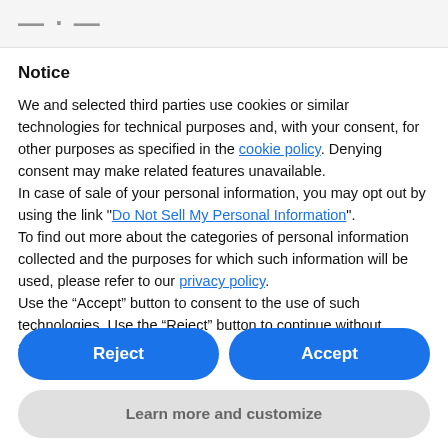Notice
We and selected third parties use cookies or similar technologies for technical purposes and, with your consent, for other purposes as specified in the cookie policy. Denying consent may make related features unavailable.
In case of sale of your personal information, you may opt out by using the link "Do Not Sell My Personal Information".
To find out more about the categories of personal information collected and the purposes for which such information will be used, please refer to our privacy policy.
Use the “Accept” button to consent to the use of such technologies. Use the “Reject” button to continue without accepting.
Reject
Accept
Learn more and customize